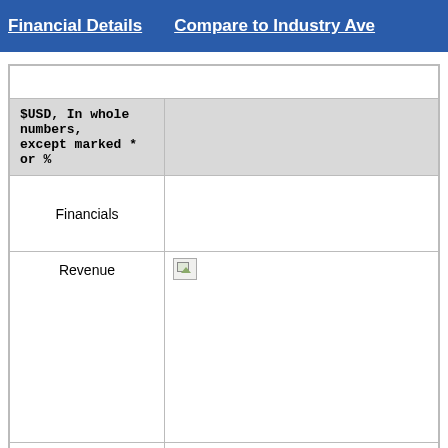Financial Details   Compare to Industry Ave
| $USD, In whole numbers, except marked * or % |  |
| --- | --- |
| Financials |  |
| Revenue | [chart image] |
| Cost of Revenue | [chart image] |